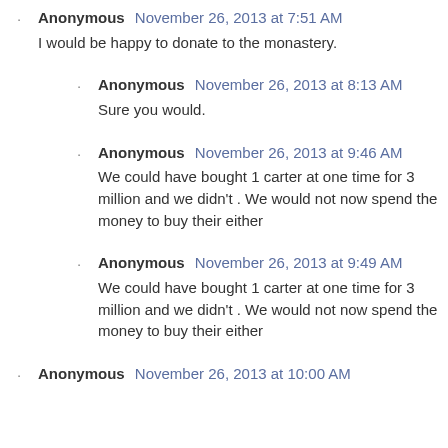Anonymous November 26, 2013 at 7:51 AM
I would be happy to donate to the monastery.
Anonymous November 26, 2013 at 8:13 AM
Sure you would.
Anonymous November 26, 2013 at 9:46 AM
We could have bought 1 carter at one time for 3 million and we didn't . We would not now spend the money to buy their either
Anonymous November 26, 2013 at 9:49 AM
We could have bought 1 carter at one time for 3 million and we didn't . We would not now spend the money to buy their either
Anonymous November 26, 2013 at 10:00 AM